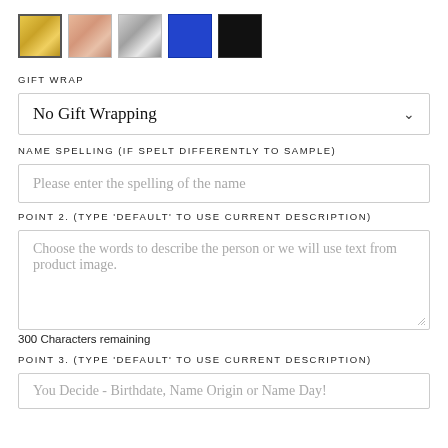[Figure (other): Five color swatches: gold (selected with border), rose/peach, silver, blue, black]
GIFT WRAP
No Gift Wrapping
NAME SPELLING (IF SPELT DIFFERENTLY TO SAMPLE)
Please enter the spelling of the name
POINT 2. (TYPE 'DEFAULT' TO USE CURRENT DESCRIPTION)
Choose the words to describe the person or we will use text from product image.
300 Characters remaining
POINT 3. (TYPE 'DEFAULT' TO USE CURRENT DESCRIPTION)
You Decide - Birthdate, Name Origin or Name Day!